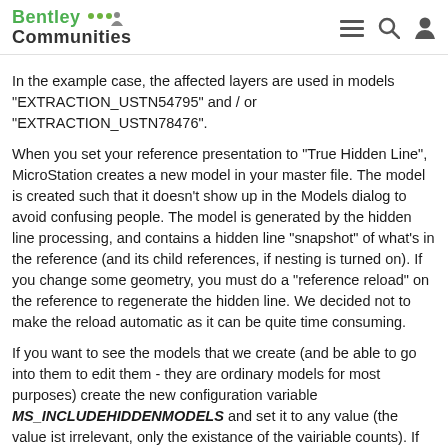Bentley Communities
In the example case, the affected layers are used in models "EXTRACTION_USTN54795" and / or "EXTRACTION_USTN78476".
When you set your reference presentation to "True Hidden Line", MicroStation creates a new model in your master file. The model is created such that it doesn't show up in the Models dialog to avoid confusing people. The model is generated by the hidden line processing, and contains a hidden line "snapshot" of what's in the reference (and its child references, if nesting is turned on). If you change some geometry, you must do a "reference reload" on the reference to regenerate the hidden line. We decided not to make the reload automatic as it can be quite time consuming.
If you want to see the models that we create (and be able to go into them to edit them - they are ordinary models for most purposes) create the new configuration variable MS_INCLUDEHIDDENMODELS and set it to any value (the value ist irrelevant, only the existance of the vairiable counts). If you edit the generated models, keep in mind that doing a reference reload on